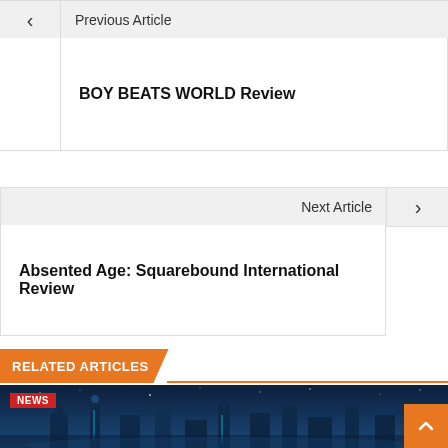< Previous Article
BOY BEATS WORLD Review
Next Article >
Absented Age: Squarebound International Review
RELATED ARTICLES
[Figure (photo): NEWS badge with a sci-fi city screenshot showing glowing blue buildings and towers at night]